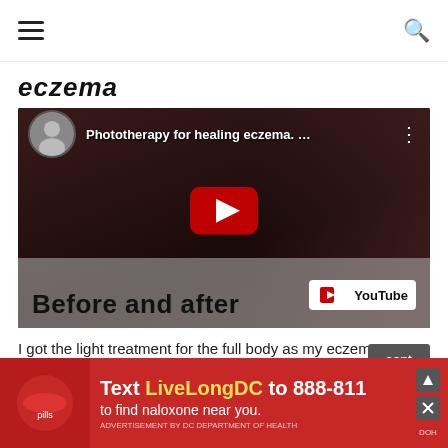≡  [search icon]
eczema
[Figure (screenshot): YouTube video thumbnail for 'Phototherapy for healing eczema. ...' showing a woman smiling, with a red play button in the center and 'Before and after' text overlay at the bottom, and YouTube logo in bottom right.]
I got the light treatment for the full body as my eczema was from
This website uses cookies to improve your experience. We'll assume you're [ok with this]
[Figure (infographic): Advertisement banner: 'Text LiveLongDC to 888-811 to find naloxone near you.' with DC DOH branding, red background with pill imagery.]